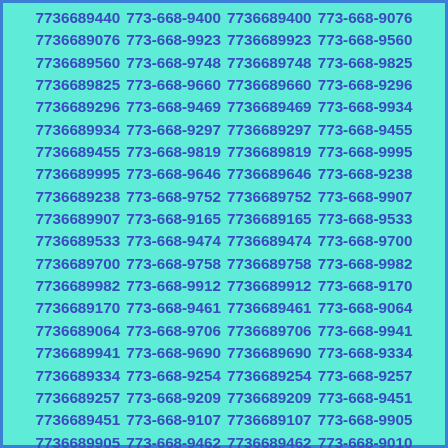7736689440 773-668-9400 7736689400 773-668-9076 7736689076 773-668-9923 7736689923 773-668-9560 7736689560 773-668-9748 7736689748 773-668-9825 7736689825 773-668-9660 7736689660 773-668-9296 7736689296 773-668-9469 7736689469 773-668-9934 7736689934 773-668-9297 7736689297 773-668-9455 7736689455 773-668-9819 7736689819 773-668-9995 7736689995 773-668-9646 7736689646 773-668-9238 7736689238 773-668-9752 7736689752 773-668-9907 7736689907 773-668-9165 7736689165 773-668-9533 7736689533 773-668-9474 7736689474 773-668-9700 7736689700 773-668-9758 7736689758 773-668-9982 7736689982 773-668-9912 7736689912 773-668-9170 7736689170 773-668-9461 7736689461 773-668-9064 7736689064 773-668-9706 7736689706 773-668-9941 7736689941 773-668-9690 7736689690 773-668-9334 7736689334 773-668-9254 7736689254 773-668-9257 7736689257 773-668-9209 7736689209 773-668-9451 7736689451 773-668-9107 7736689107 773-668-9905 7736689905 773-668-9462 7736689462 773-668-9010 7736689010 773-668-9485 7736689485 773-668-9213 7736689213 773-668-9291 7736689291 773-668-9393 7736689393 773-668-9626 7736689626 773-668-9002 7736689002 773-668-9786 7736689786 773-668-9179 7736689179 773-668-9052 7736689052 773-668-9093 7736689093 773-668-9808 7736689808 773-668-9582